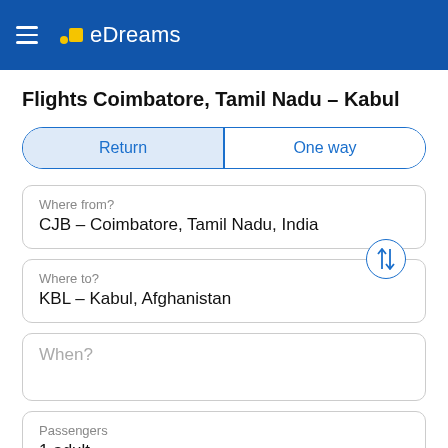eDreams
Flights Coimbatore, Tamil Nadu – Kabul
Return | One way
Where from?
CJB – Coimbatore, Tamil Nadu, India
Where to?
KBL – Kabul, Afghanistan
When?
Passengers
1 adult